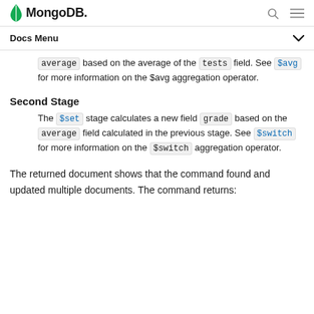MongoDB
Docs Menu
average based on the average of the tests field. See $avg for more information on the $avg aggregation operator.
Second Stage
The $set stage calculates a new field grade based on the average field calculated in the previous stage. See $switch for more information on the $switch aggregation operator.
The returned document shows that the command found and updated multiple documents. The command returns: